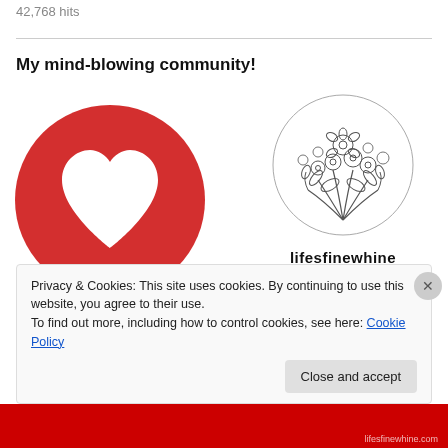42,768 hits
My mind-blowing community!
[Figure (logo): Red circle with white heart cutout logo]
[Figure (logo): Circular black and white floral illustration logo for lifesfinewhine by Pooja]
lifesfinewhine BY POOJA
Privacy & Cookies: This site uses cookies. By continuing to use this website, you agree to their use.
To find out more, including how to control cookies, see here: Cookie Policy